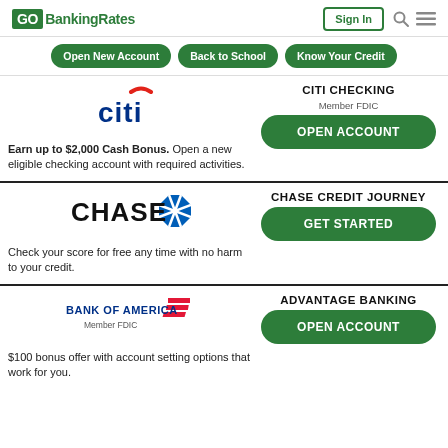GOBankingRates Sign In
Open New Account
Back to School
Know Your Credit
[Figure (logo): Citi bank logo with red arc above blue text 'citi']
Earn up to $2,000 Cash Bonus. Open a new eligible checking account with required activities.
CITI CHECKING
Member FDIC
OPEN ACCOUNT
[Figure (logo): Chase bank logo with blue octagon and text 'CHASE']
Check your score for free any time with no harm to your credit.
CHASE CREDIT JOURNEY
GET STARTED
[Figure (logo): Bank of America logo with red stripes and text 'BANK OF AMERICA Member FDIC']
$100 bonus offer with account setting options that work for you.
ADVANTAGE BANKING
OPEN ACCOUNT